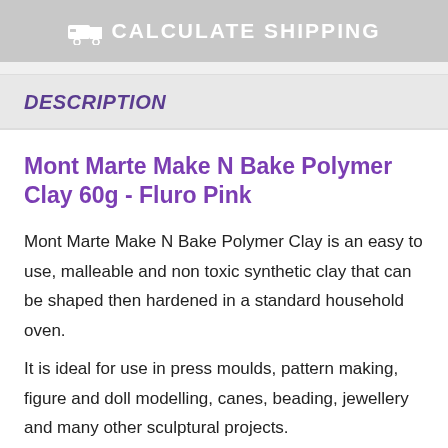CALCULATE SHIPPING
DESCRIPTION
Mont Marte Make N Bake Polymer Clay 60g - Fluro Pink
Mont Marte Make N Bake Polymer Clay is an easy to use, malleable and non toxic synthetic clay that can be shaped then hardened in a standard household oven.
It is ideal for use in press moulds, pattern making, figure and doll modelling, canes, beading, jewellery and many other sculptural projects.
The clay is soft and smooth and colours blend easily